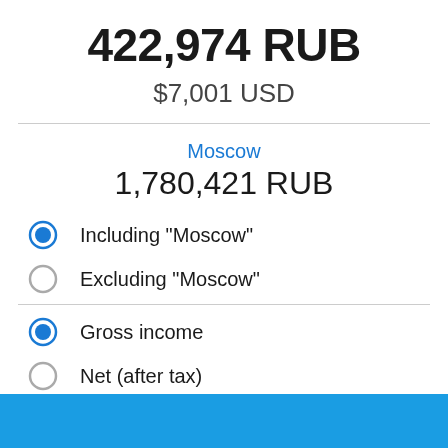422,974 RUB
$7,001 USD
Moscow
1,780,421 RUB
Including "Moscow"
Excluding "Moscow"
Gross income
Net (after tax)
CHANGE CURRENCY